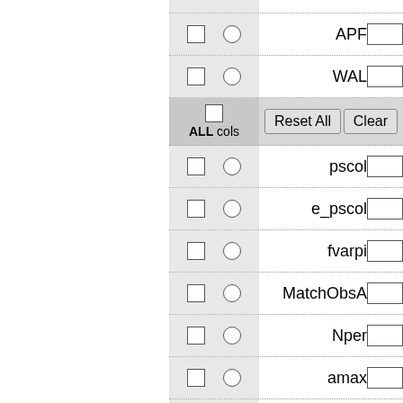[Figure (screenshot): A database query UI panel showing rows with checkboxes, radio buttons, field labels (APF, WAL, pscol, e_pscol, fvarpi, MatchObsA, Nper, amax, type, MatchObs), text input fields, and control buttons (Reset All, Clear). The left column has a gray background for checkboxes/radio controls.]